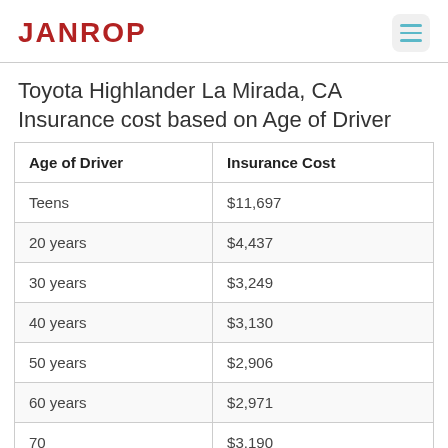JANROP
Toyota Highlander La Mirada, CA Insurance cost based on Age of Driver
| Age of Driver | Insurance Cost |
| --- | --- |
| Teens | $11,697 |
| 20 years | $4,437 |
| 30 years | $3,249 |
| 40 years | $3,130 |
| 50 years | $2,906 |
| 60 years | $2,971 |
| 70 years | $3,190 |